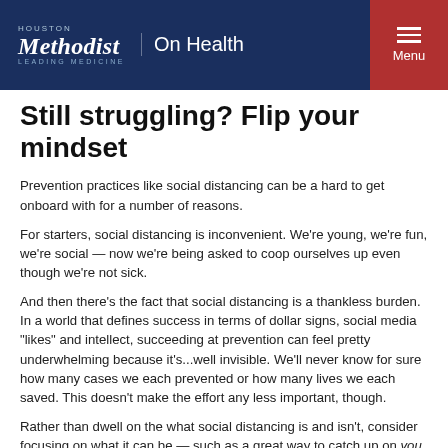Houston Methodist | On Health | Menu
Still struggling? Flip your mindset
Prevention practices like social distancing can be a hard to get onboard with for a number of reasons.
For starters, social distancing is inconvenient. We're young, we're fun, we're social — now we're being asked to coop ourselves up even though we're not sick.
And then there's the fact that social distancing is a thankless burden. In a world that defines success in terms of dollar signs, social media "likes" and intellect, succeeding at prevention can feel pretty underwhelming because it's...well invisible. We'll never know for sure how many cases we each prevented or how many lives we each saved. This doesn't make the effort any less important, though.
Rather than dwell on the what social distancing is and isn't, consider focusing on what it can be — such as a great way to catch up on you.